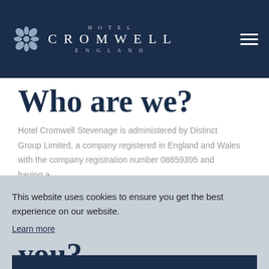[Figure (logo): Hotel Cromwell England logo with decorative flower icon on dark navy header bar with hamburger menu icon on the right]
Who are we?
Hotel Cromwell Stevenage is administered by Distinct Group Limited, a company registered in England and Wales with the company registration number 08659395 and having a registered business address at 8A England...
This website uses cookies to ensure you get the best experience on our website. Learn more
Accept & Continue
you?